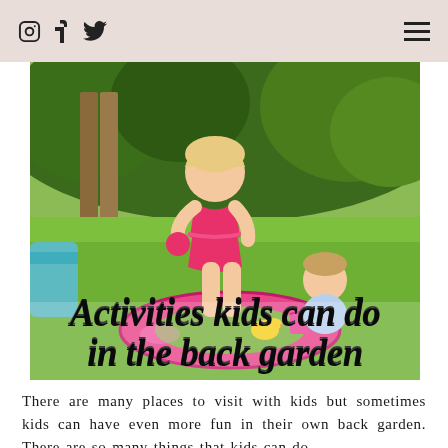Instagram / Facebook / Twitter icons and hamburger menu
[Figure (photo): Two young children playing outdoors in a back garden on a sunny day. One toddler in a pink ruffled swimsuit stands on a large pink inflatable ring, and a baby sits inside the inflatable. Green grass and trees/bushes in background. Blue pool/slide visible on left edge. Overlaid bold italic text reads: Activities kids can do in the back garden]
There are many places to visit with kids but sometimes kids can have even more fun in their own back garden. There are so many things that kids can do